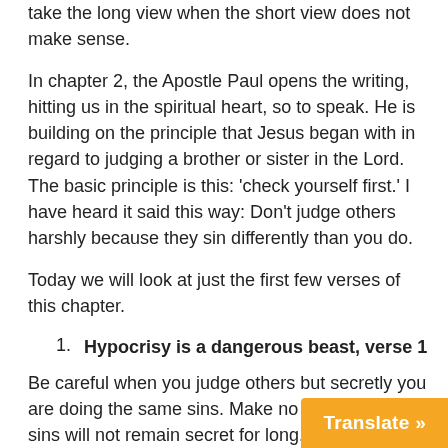take the long view when the short view does not make sense.
In chapter 2, the Apostle Paul opens the writing, hitting us in the spiritual heart, so to speak. He is building on the principle that Jesus began with in regard to judging a brother or sister in the Lord. The basic principle is this: 'check yourself first.' I have heard it said this way: Don't judge others harshly because they sin differently than you do.
Today we will look at just the first few verses of this chapter.
Hypocrisy is a dangerous beast, verse 1
Be careful when you judge others but secretly you are doing the same sins. Make no mistake; your sins will not remain secret for long. Everything eventually comes to the surface. All too often, we have heard of Pastors who have fallen into sin but they were the hardest on people. W prominent figures who are hard on, say, pr